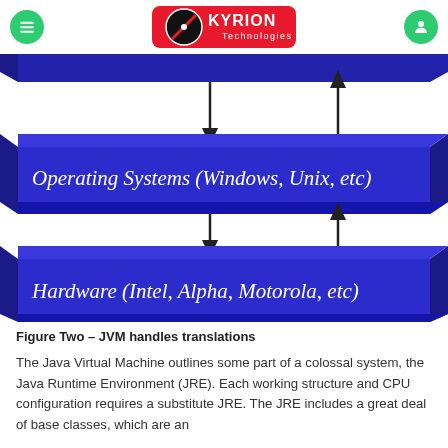Kyrion Technologies
[Figure (flowchart): Layered architecture diagram showing two 3D blue blocks with arrows between them. Top block labeled 'Operating Systems (Windows, Unix, etc)' with a downward arrow pointing to it and an upward arrow from it. Bottom block labeled 'Hardware (Intel, Alpha, Motorola, etc)' with similar arrows. A partial blue bar at top represents a higher-level layer.]
Figure Two – JVM handles translations
The Java Virtual Machine outlines some part of a colossal system, the Java Runtime Environment (JRE). Each working structure and CPU configuration requires a substitute JRE. The JRE includes a great deal of base classes, which are an